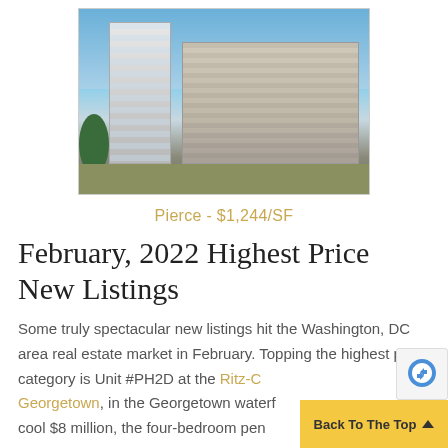[Figure (photo): Aerial view of luxury high-rise condominium buildings against blue sky with trees in foreground]
Pierce - $1,244/SF
February, 2022 Highest Price New Listings
Some truly spectacular new listings hit the Washington, DC area real estate market in February. Topping the highest price category is Unit #PH2D at the Ritz-C Georgetown, in the Georgetown waterf cool $8 million, the four-bedroom pen